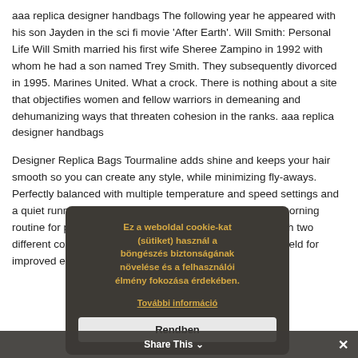aaa replica designer handbags The following year he appeared with his son Jayden in the sci fi movie 'After Earth'. Will Smith: Personal Life Will Smith married his first wife Sheree Zampino in 1992 with whom he had a son named Trey Smith. They subsequently divorced in 1995. Marines United. What a crock. There is nothing about a site that objectifies women and fellow warriors in demeaning and dehumanizing ways that threaten cohesion in the ranks. aaa replica designer handbags
Designer Replica Bags Tourmaline adds shine and keeps your hair smooth so you can create any style, while minimizing fly-aways. Perfectly balanced with multiple temperature and speed settings and a quiet running long life motor. It's easy to upgrade your morning routine for professional results everyday, plus it comes with two different concentrators. It features a low electromagnetic field for improved environmental conditions through reduced emissions. Designer Replica Bags
[Figure (screenshot): Cookie consent overlay dialog in Hungarian: 'Ez a weboldal cookie-kat (sütiket) használ a böngészés biztonságának növelése és a felhasználói élmény fokozása érdekében.' with a 'További információ' link and a 'Rendben' button.]
[Figure (screenshot): Share This bar at the bottom of the page with text 'Share This' and a close (×) button.]